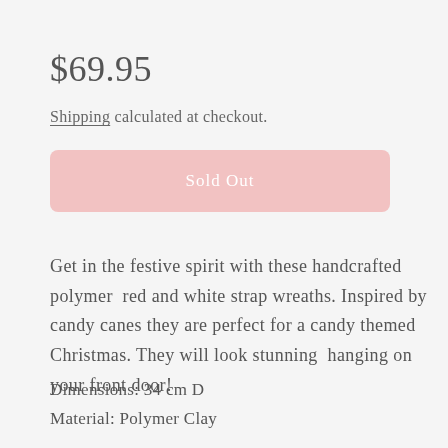$69.95
Shipping calculated at checkout.
Sold Out
Get in the festive spirit with these handcrafted polymer  red and white strap wreaths. Inspired by candy canes they are perfect for a candy themed Christmas. They will look stunning  hanging on your front door!
Dimensions: 34 cm D
Material: Polymer Clay